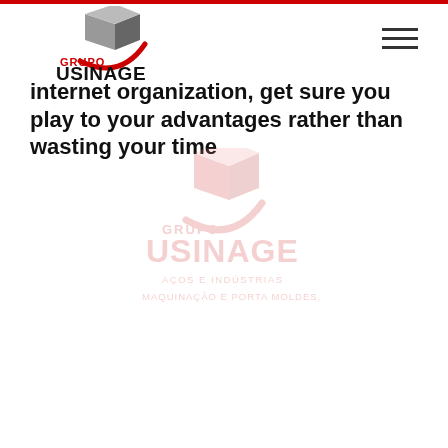[Figure (logo): Grupo Usinage logo with grey 3D cube and red swoosh, 'GRUPO USINAGE' text in bold black with 'GRUPO' in red]
internet organization, get sure you play to your advantages rather than wasting your time
[Figure (logo): Watermark/ghost version of Grupo Usinage logo: cube icon with swoosh, 'GRUPO USINAGE' in red, 'AÇOS E INDÚSTRIAS MAQUINAÇÃO E PORTA MOLDES, LDA.' subtitle]